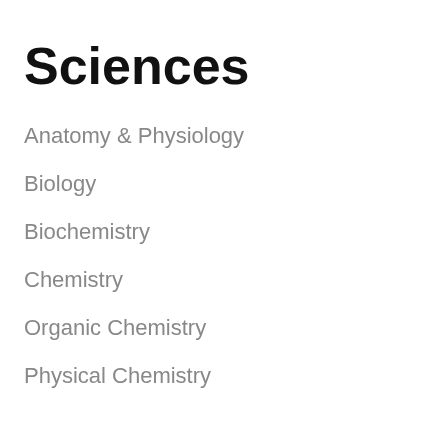Sciences
Anatomy & Physiology
Biology
Biochemistry
Chemistry
Organic Chemistry
Physical Chemistry